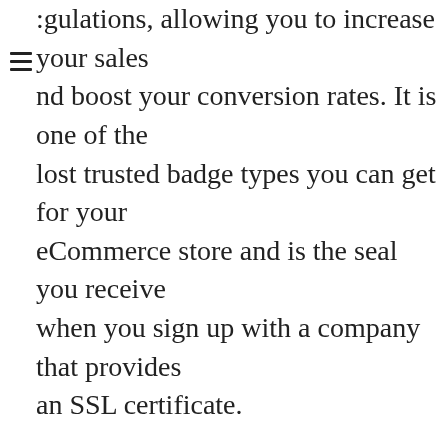:gulations, allowing you to increase your sales and boost your conversion rates. It is one of the most trusted badge types you can get for your eCommerce store and is the seal you receive when you sign up with a company that provides an SSL certificate.
An SSL (Secure Socket Layer) certificate protects the internet connection and all the shared information across that internet connection.
It is no secret that all clients want a safe and secure checkout when they finish with their purchase. So, when they see different safe checkout badges like this one or a PayPal verified badge, Shopify trust seal, or other trust